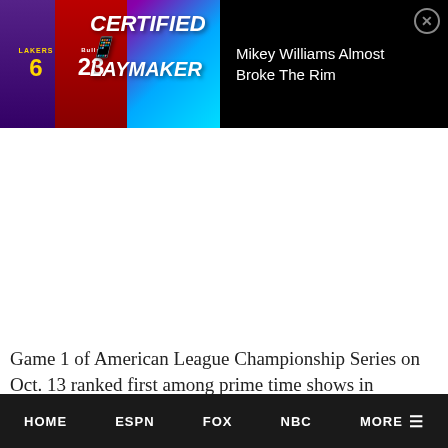[Figure (screenshot): Ad banner showing basketball jerseys (Lakers #6 and Bulls) with 'Certified Playmaker' text overlay on blue background, and title 'Mikey Williams Almost Broke The Rim' on black background with close button]
Game 1 of American League Championship Series on Oct. 13 ranked first among prime time shows in Houston (our coverage area) and for the…
HOME   ESPN   FOX   NBC   MORE